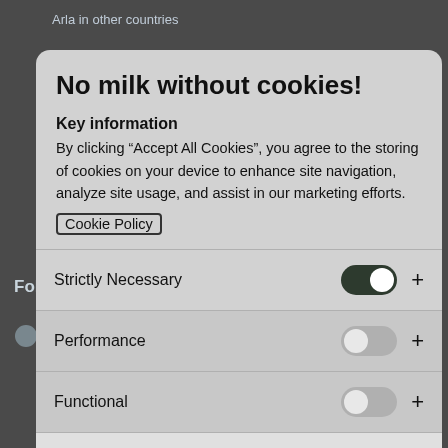Arla in other countries
Modern Slavery Act Transparency Statement...
Arla Foods UK Tax Strategy
Follow Us
No milk without cookies!
Key information
By clicking “Accept All Cookies”, you agree to the storing of cookies on your device to enhance site navigation, analyze site usage, and assist in our marketing efforts.
Cookie Policy
Strictly Necessary
Performance
Functional
Targeting
Dessert + Halloween